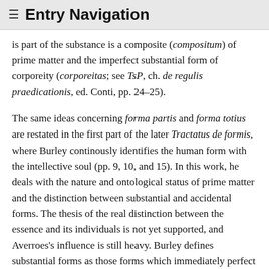≡ Entry Navigation
is part of the substance is a composite (compositum) of prime matter and the imperfect substantial form of corporeity (corporeitas; see TsP, ch. de regulis praedicationis, ed. Conti, pp. 24–25).
The same ideas concerning forma partis and forma totius are restated in the first part of the later Tractatus de formis, where Burley continously identifies the human form with the intellective soul (pp. 9, 10, and 15). In this work, he deals with the nature and ontological status of prime matter and the distinction between substantial and accidental forms. The thesis of the real distinction between the essence and its individuals is not yet supported, and Averroes's influence is still heavy. Burley defines substantial forms as those forms which immediately perfect matter and give existence (esse simpliciter) to the composite, whereas accidental forms presuppose the existence of the composite, and perfect it. As a result, individuals belonging to the same natural species differ from each other because of their own